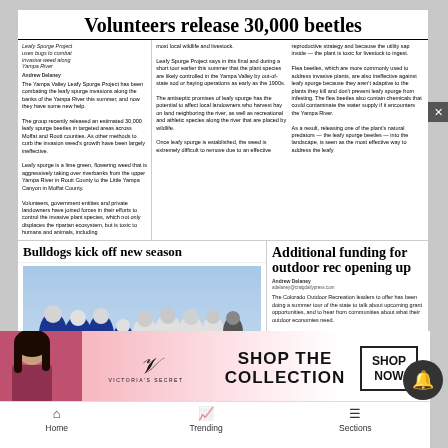Volunteers release 30,000 beetles
Leafy Spurge Project uses bugs to combat invasive weed along Yampa River. The Yampa Valley Leafy Spurge Project has been controlling the leafy spurge invasions along the banks of the Yampa River this summer, and now they have some new help. The group recently released an estimated 30,000 leafy spurge beetles in targeted areas across Moffat and Routt counties. As other methods to curb the invasion weed's growth have been largely ineffective. Leafy spurge is a lime green, flowering weed that is aggressively taking over riverbanks from the upper Yampa River in Routt County to the Little Yampa Canyon in Moffat County. Volunteers, government entities and private landowners have joined forces in their efforts to control the invasive plant species, which not only displaces the riparian ecosystem, but is toxic to humans and animals, including most local wildlife and livestock.
Bulldogs kick off new season
[Figure (photo): Football players in blue and white uniforms lined up on a field at a high school football game]
The Moffat County defense lines up for a play against Resurrection Christian on a football game on Friday at Moffat County High School. The Bulldogs kicked off the new season at home and fell 30-9. For more coverage, turn to page 9.
Additional funding for outdoor rec opening up
The Colorado Outdoor Recreation leaders to offer has been doing a summer tour of the state to talk about upcoming grant opportunities, and to hear from communities about what their outdoor economies need. CORC's mission is to champion industry, communities and people through Colorado's great outdoors. Duane Ball, CORC Director, and his team visited Craig on Aug. 30 to talk about grants and recreation in Moffat County. According to CORC's presentation, Moffat County reports that 424 jobs are directly related to the outdoor industry, making up 4% of the local workforce. The office is rolling out the Colorado Outdoors Recreation Grant, which is a one time program that consists of $0.5 million to 1.8m and ADA funding. Funding will be distributed through competitive awards to governments, nonprofits.
[Figure (infographic): Northwest Colorado Health advertisement - Meeting all of your health care needs under one roof. 970-824-8233. northwestcoloradohealth.org]
[Figure (infographic): Victoria's Secret advertisement - Shop the Collection. Shop Now.]